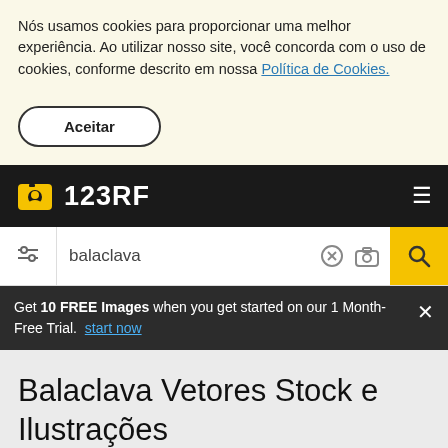Nós usamos cookies para proporcionar uma melhor experiência. Ao utilizar nosso site, você concorda com o uso de cookies, conforme descrito em nossa Política de Cookies.
Aceitar
[Figure (logo): 123RF logo with camera icon on black navbar, hamburger menu icon on right]
[Figure (screenshot): Search bar with filter icon, text 'balaclava', clear icon, camera icon, and yellow search button]
Get 10 FREE Images when you get started on our 1 Month-Free Trial. start now
Balaclava Vetores Stock e Ilustrações